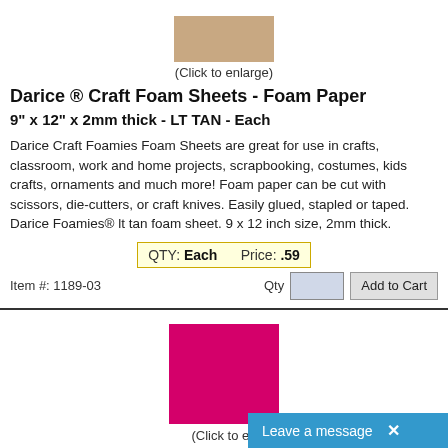[Figure (photo): Tan/beige colored foam sheet product thumbnail image]
(Click to enlarge)
Darice ® Craft Foam Sheets - Foam Paper
9" x 12" x 2mm thick -  LT TAN - Each
Darice Craft Foamies Foam Sheets are great for use in crafts, classroom, work and home projects, scrapbooking, costumes, kids crafts, ornaments and much more! Foam paper can be cut with scissors, die-cutters, or craft knives. Easily glued, stapled or taped. Darice Foamies® lt tan foam sheet. 9 x 12 inch size, 2mm thick.
QTY: Each    Price: .59
Item #: 1189-03    Qty  [input]  Add to Cart
[Figure (photo): Magenta/hot pink colored foam sheet product thumbnail image]
(Click to en...